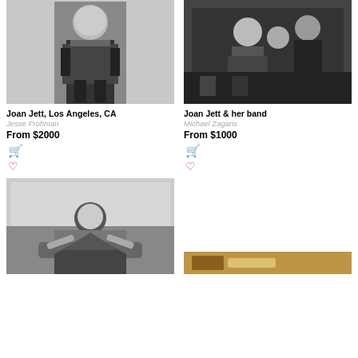[Figure (photo): Black and white photo of Joan Jett posing alone, Los Angeles CA]
Joan Jett, Los Angeles, CA
Jesse Frohman
From $2000
[Figure (photo): Black and white photo of Joan Jett and her band]
Joan Jett & her band
Michael Zagaris
From $1000
[Figure (photo): Black and white photo, third item, person leaning over object]
[Figure (photo): Partial photo visible at bottom right, warm tones]